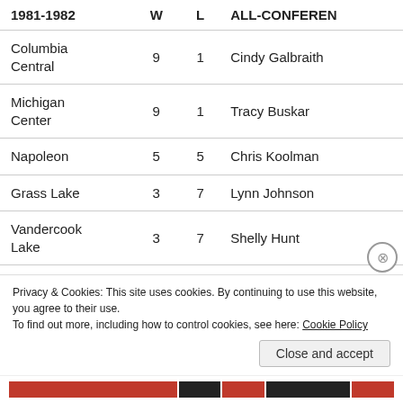| 1981-1982 | W | L | ALL-CONFERENCE |
| --- | --- | --- | --- |
| Columbia Central | 9 | 1 | Cindy Galbraith |
| Michigan Center | 9 | 1 | Tracy Buskar |
| Napoleon | 5 | 5 | Chris Koolman |
| Grass Lake | 3 | 7 | Lynn Johnson |
| Vandercook Lake | 3 | 7 | Shelly Hunt |
Advertisements
Privacy & Cookies: This site uses cookies. By continuing to use this website, you agree to their use.
To find out more, including how to control cookies, see here: Cookie Policy
Close and accept